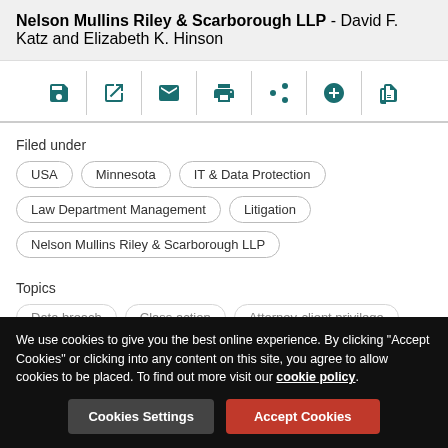Nelson Mullins Riley & Scarborough LLP - David F. Katz and Elizabeth K. Hinson
[Figure (infographic): Icon toolbar with save, external link, email, print, share, add, and thumbs-up icons separated by vertical dividers]
Filed under
USA
Minnesota
IT & Data Protection
Law Department Management
Litigation
Nelson Mullins Riley & Scarborough LLP
Topics
Data breach
Class action
Attorney-client privilege
We use cookies to give you the best online experience. By clicking "Accept Cookies" or clicking into any content on this site, you agree to allow cookies to be placed. To find out more visit our cookie policy.